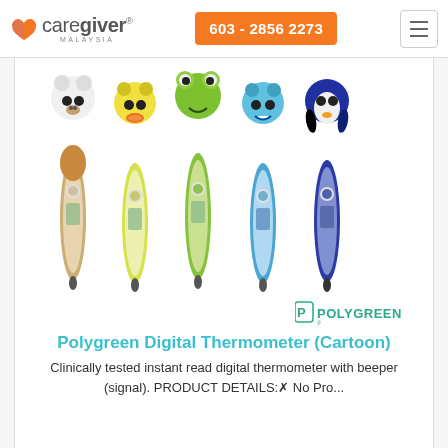caregiver MALAYSIA | 603 - 2856 2273
[Figure (photo): Five cartoon-themed digital thermometers side by side: bear (brown/white), duck (yellow/white), frog (green/white), shark (blue/light blue), penguin (dark blue/white). Each thermometer has an animal character head on top and a slim digital display body.]
[Figure (logo): Polygreen brand logo in teal/green color with the text POLYGREEN and a stylized P icon]
Polygreen Digital Thermometer (Cartoon)
Clinically tested instant read digital thermometer with beeper (signal). PRODUCT DETAILS:✿ No Pro...